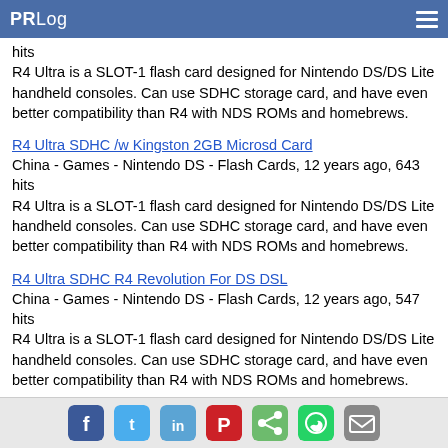PRLog
hits
R4 Ultra is a SLOT-1 flash card designed for Nintendo DS/DS Lite handheld consoles. Can use SDHC storage card, and have even better compatibility than R4 with NDS ROMs and homebrews.
R4 Ultra SDHC /w Kingston 2GB Microsd Card
China - Games - Nintendo DS - Flash Cards, 12 years ago, 643 hits
R4 Ultra is a SLOT-1 flash card designed for Nintendo DS/DS Lite handheld consoles. Can use SDHC storage card, and have even better compatibility than R4 with NDS ROMs and homebrews.
R4 Ultra SDHC R4 Revolution For DS DSL
China - Games - Nintendo DS - Flash Cards, 12 years ago, 547 hits
R4 Ultra is a SLOT-1 flash card designed for Nintendo DS/DS Lite handheld consoles. Can use SDHC storage card, and have even better compatibility than R4 with NDS ROMs and homebrews.
Social share icons: Facebook, Twitter, LinkedIn, Pinterest, Share, WhatsApp, Email